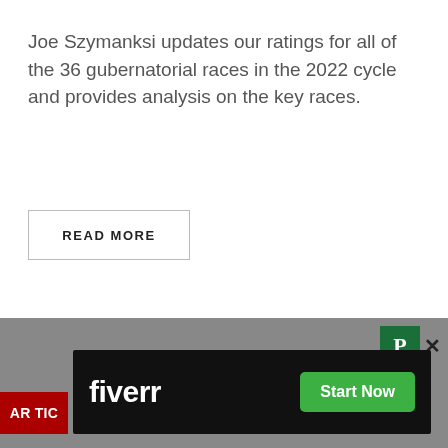Joe Szymanksi updates our ratings for all of the 36 gubernatorial races in the 2022 cycle and provides analysis on the key races.
READ MORE
[Figure (screenshot): Fiverr advertisement banner with black background showing 'fiverr' logo in white bold text on the left and a green 'Start Now' button on the right, displayed on a grey bar at the bottom of the page. A green 'P' icon with an 'X' close button appears in the top-right of the grey bar. A red 'ARTIC' tag is visible at the bottom-left.]